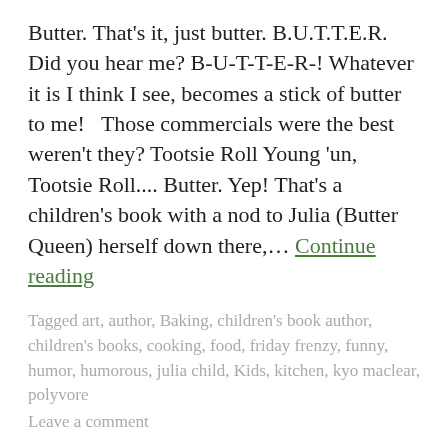Butter. That's it, just butter. B.U.T.T.E.R. Did you hear me? B-U-T-T-E-R-! Whatever it is I think I see, becomes a stick of butter to me!   Those commercials were the best weren't they? Tootsie Roll Young 'un, Tootsie Roll.... Butter. Yep! That's a children's book with a nod to Julia (Butter Queen) herself down there,… Continue reading
Tagged art, author, Baking, children's book author, children's books, cooking, food, friday frenzy, funny, humor, humorous, julia child, Kids, kitchen, kyo maclear, polyvore
Leave a comment
KIDS, KITCHEN
Ice Cream Salad...